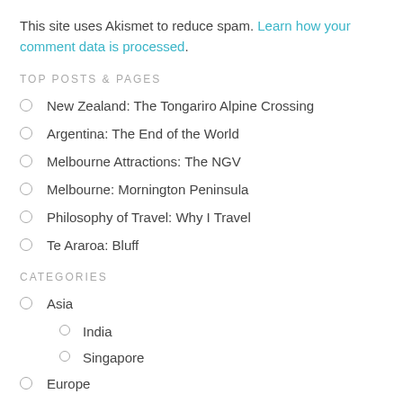This site uses Akismet to reduce spam. Learn how your comment data is processed.
TOP POSTS & PAGES
New Zealand: The Tongariro Alpine Crossing
Argentina: The End of the World
Melbourne Attractions: The NGV
Melbourne: Mornington Peninsula
Philosophy of Travel: Why I Travel
Te Araroa: Bluff
CATEGORIES
Asia
India
Singapore
Europe
Austria